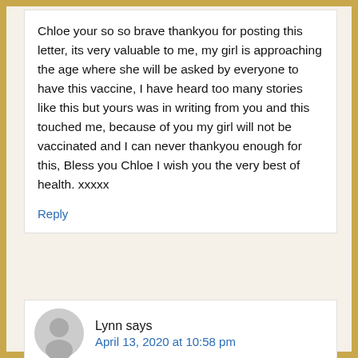Chloe your so so brave thankyou for posting this letter, its very valuable to me, my girl is approaching the age where she will be asked by everyone to have this vaccine, I have heard too many stories like this but yours was in writing from you and this touched me, because of you my girl will not be vaccinated and I can never thankyou enough for this, Bless you Chloe I wish you the very best of health. xxxxx
Reply
Lynn says
April 13, 2020 at 10:58 pm
Hi chloe